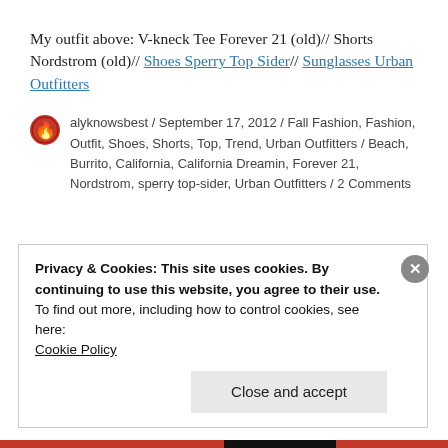My outfit above: V-kneck Tee Forever 21 (old)// Shorts Nordstrom (old)// Shoes Sperry Top Sider// Sunglasses Urban Outfitters
alyknowsbest / September 17, 2012 / Fall Fashion, Fashion, Outfit, Shoes, Shorts, Top, Trend, Urban Outfitters / Beach, Burrito, California, California Dreamin, Forever 21, Nordstrom, sperry top-sider, Urban Outfitters / 2 Comments
Privacy & Cookies: This site uses cookies. By continuing to use this website, you agree to their use.
To find out more, including how to control cookies, see here: Cookie Policy